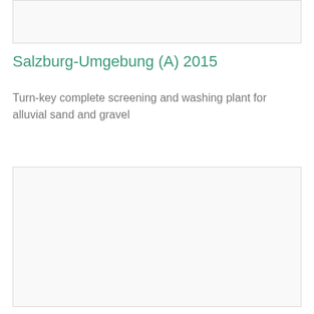[Figure (photo): Top image placeholder box, empty white/light gray area with border]
Salzburg-Umgebung (A) 2015
Turn-key complete screening and washing plant for alluvial sand and gravel
[Figure (photo): Bottom image placeholder box, large empty white/light gray area with border]